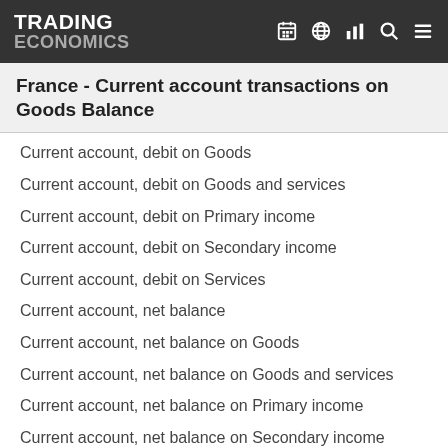TRADING ECONOMICS
France - Current account transactions on Goods Balance
Current account, debit on Goods
Current account, debit on Goods and services
Current account, debit on Primary income
Current account, debit on Secondary income
Current account, debit on Services
Current account, net balance
Current account, net balance on Goods
Current account, net balance on Goods and services
Current account, net balance on Primary income
Current account, net balance on Secondary income
Current account, net balance on Services
Direct investment abroad: Assets
Direct investment abroad: Assets - positions at the end of period
Direct investment abroad: Financial account
Direct investment abroad: Financial account; Debt instruments